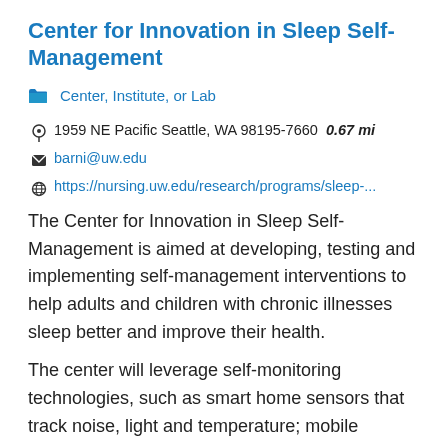Center for Innovation in Sleep Self-Management
Center, Institute, or Lab
1959 NE Pacific Seattle, WA 98195-7660  0.67 mi
barni@uw.edu
https://nursing.uw.edu/research/programs/sleep-...
The Center for Innovation in Sleep Self-Management is aimed at developing, testing and implementing self-management interventions to help adults and children with chronic illnesses sleep better and improve their health.
The center will leverage self-monitoring technologies, such as smart home sensors that track noise, light and temperature; mobile